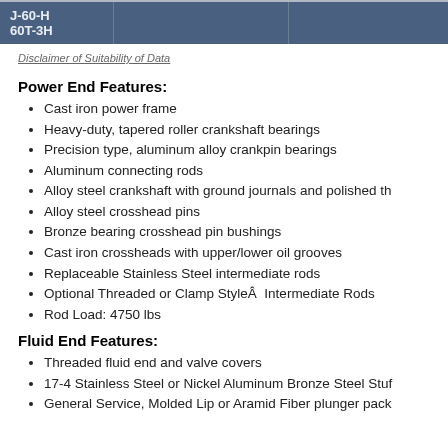| J-60-H
60T-3H |  |  |
| --- | --- | --- |
Disclaimer of Suitability of Data
Power End Features:
Cast iron power frame
Heavy-duty, tapered roller crankshaft bearings
Precision type, aluminum alloy crankpin bearings
Aluminum connecting rods
Alloy steel crankshaft with ground journals and polished th
Alloy steel crosshead pins
Bronze bearing crosshead pin bushings
Cast iron crossheads with upper/lower oil grooves
Replaceable Stainless Steel intermediate rods
Optional Threaded or Clamp StyleÂ  Intermediate Rods
Rod Load: 4750 lbs
Fluid End Features:
Threaded fluid end and valve covers
17-4 Stainless Steel or Nickel Aluminum Bronze Steel Stuf
General Service, Molded Lip or Aramid Fiber plunger pack